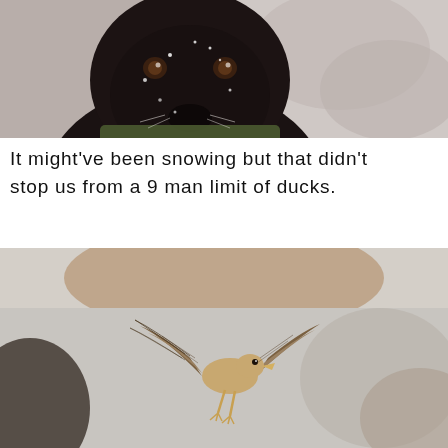[Figure (photo): Close-up photo of a black Labrador retriever dog with snow flecks on its face and a camouflage collar, outdoors in a snowy environment]
It might've been snowing but that didn't stop us from a 9 man limit of ducks.
[Figure (photo): Photo of a duck in flight with wings spread, captured against a blurred background of grey sky and bokeh shapes]